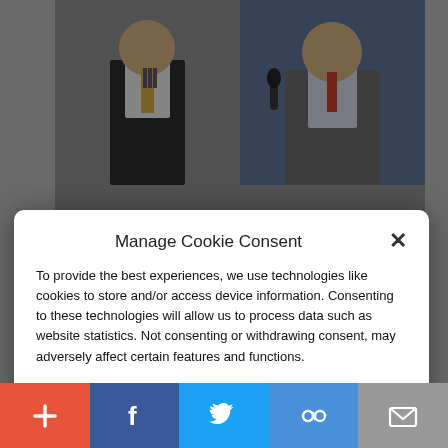[Figure (screenshot): Background webpage showing two photos of people at top and bottom, with social share toolbar at the bottom]
Manage Cookie Consent
To provide the best experiences, we use technologies like cookies to store and/or access device information. Consenting to these technologies will allow us to process data such as website statistics. Not consenting or withdrawing consent, may adversely affect certain features and functions.
Accept
Cookie Policy  Privacy Policy